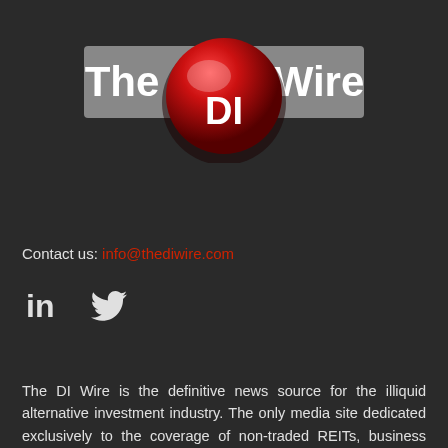[Figure (logo): The DI Wire logo: grey rectangular banner with white text 'The' and 'Wire' flanking a large red 3D sphere with white 'DI' text]
Contact us: info@thediwire.com
[Figure (infographic): LinkedIn and Twitter social media icons in white]
The DI Wire is the definitive news source for the illiquid alternative investment industry. The only media site dedicated exclusively to the coverage of non-traded REITs, business development companies, interval funds, closed end funds, DSTs and the full range of private...